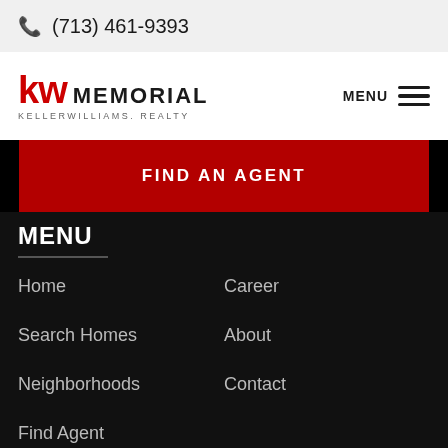(713) 461-9393
[Figure (logo): KW Memorial Keller Williams Realty logo with red KW letters and MENU hamburger icon]
FIND AN AGENT
MENU
Home
Career
Search Homes
About
Neighborhoods
Contact
Find Agent
Services